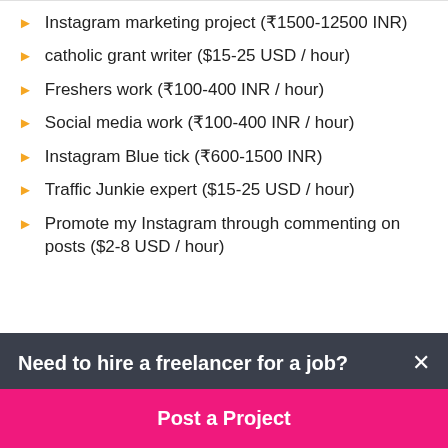Instagram marketing project (₹1500-12500 INR)
catholic grant writer ($15-25 USD / hour)
Freshers work (₹100-400 INR / hour)
Social media work (₹100-400 INR / hour)
Instagram Blue tick (₹600-1500 INR)
Traffic Junkie expert ($15-25 USD / hour)
Promote my Instagram through commenting on posts ($2-8 USD / hour)
Need to hire a freelancer for a job?
Post a Project